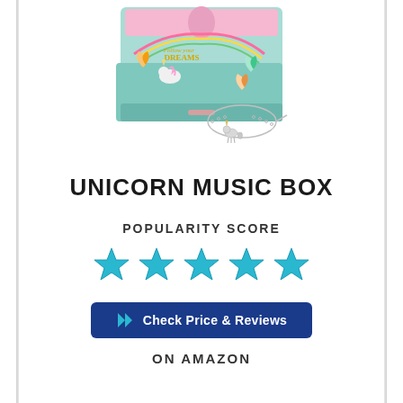[Figure (photo): Colorful unicorn/butterfly themed music jewelry box with a drawer pulled open revealing a silver bracelet with a unicorn charm. The box is teal/mint colored with rainbow, butterflies, and text 'Follow your DREAMS'. A delicate silver chain bracelet with a unicorn charm is displayed in front.]
UNICORN MUSIC BOX
POPULARITY SCORE
[Figure (infographic): Five filled teal/cyan star rating icons representing a full 5-star popularity score.]
Check Price & Reviews
ON AMAZON